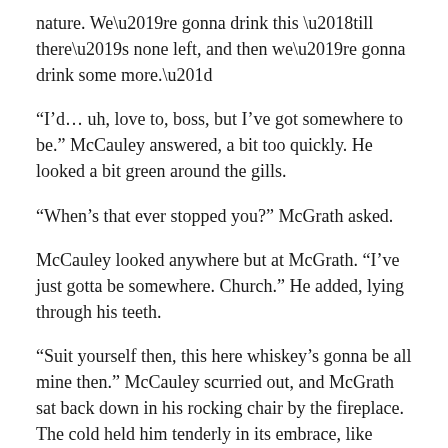nature. We’re gonna drink this ‘till there’s none left, and then we’re gonna drink some more.”
“I’d… uh, love to, boss, but I’ve got somewhere to be.” McCauley answered, a bit too quickly. He looked a bit green around the gills.
“When’s that ever stopped you?” McGrath asked.
McCauley looked anywhere but at McGrath. “I’ve just gotta be somewhere. Church.” He added, lying through his teeth.
“Suit yourself then, this here whiskey’s gonna be all mine then.” McCauley scurried out, and McGrath sat back down in his rocking chair by the fireplace. The cold held him tenderly in its embrace, like some soiled dove he had tipped handsomely.